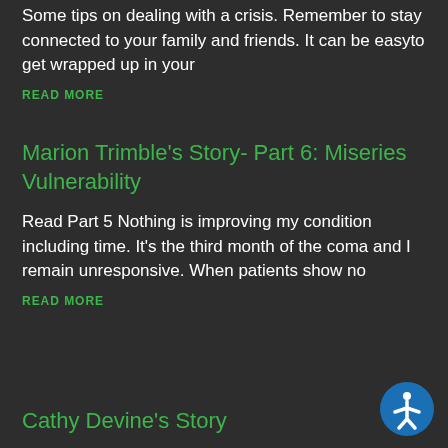Some tips on dealing with a crisis. Remember to stay connected to your family and friends. It can be easyto get wrapped up in your
READ MORE
Marion Trimble's Story- Part 6: Miseries Vulnerability
Read Part 5 Nothing is improving my condition including time. It's the third month of the coma and I remain unresponsive. When patients show no
READ MORE
Cathy Devine's Story